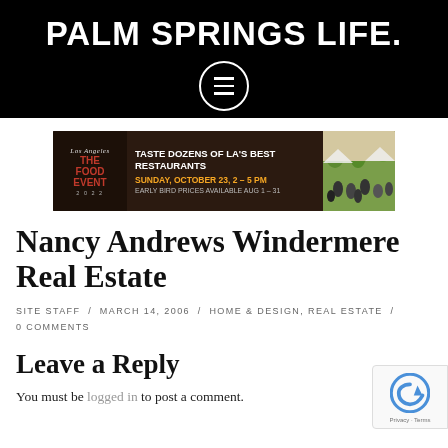PALM SPRINGS LIFE.
[Figure (infographic): Advertisement banner: LA The Food Event - Taste Dozens of LA's Best Restaurants, Sunday, October 23, 2-5 PM, Early Bird Prices Available Aug 1-31]
Nancy Andrews Windermere Real Estate
SITE STAFF / MARCH 14, 2006 / HOME & DESIGN, REAL ESTATE / 0 COMMENTS
Leave a Reply
You must be logged in to post a comment.